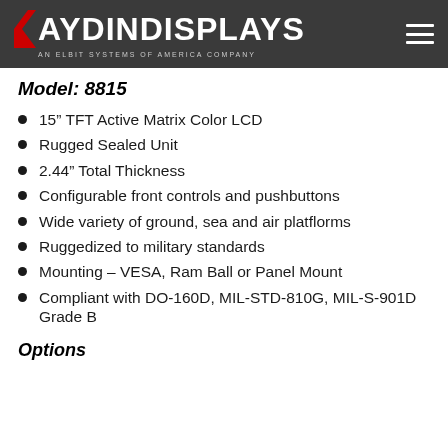AYDIN DISPLAYS – AN ELBIT SYSTEMS OF AMERICA COMPANY
Model: 8815
15” TFT Active Matrix Color LCD
Rugged Sealed Unit
2.44” Total Thickness
Configurable front controls and pushbuttons
Wide variety of ground, sea and air platflorms
Ruggedized to military standards
Mounting – VESA, Ram Ball or Panel Mount
Compliant with DO-160D, MIL-STD-810G, MIL-S-901D Grade B
Options